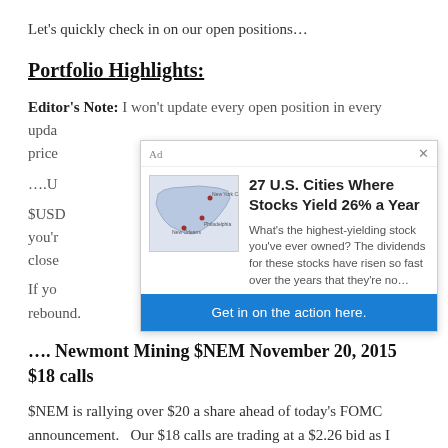Let's quickly check in on our open positions…
Portfolio Highlights:
Editor's Note: I won't update every open position in every update. price
….U
$USD you're close
If you rebound.
[Figure (other): Advertisement overlay: '27 U.S. Cities Where Stocks Yield 26% a Year' with a US map image, descriptive text, and a blue CTA button 'Get in on the action here.']
…. Newmont Mining $NEM November 20, 2015 $18 calls
$NEM is rallying over $20 a share ahead of today's FOMC announcement.   Our $18 calls are trading at a $2.26 bid as I write, which is a sweet 194% gain from our entry at $0.77 earlier this month.